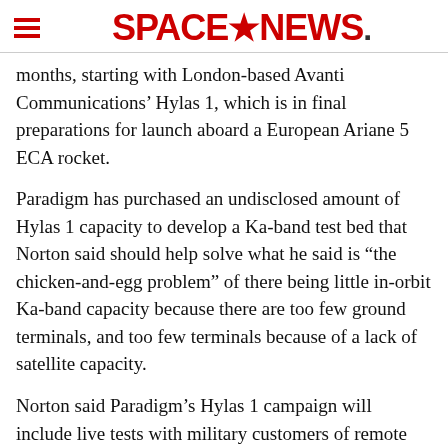SPACENEWS
months, starting with London-based Avanti Communications' Hylas 1, which is in final preparations for launch aboard a European Ariane 5 ECA rocket.
Paradigm has purchased an undisclosed amount of Hylas 1 capacity to develop a Ka-band test bed that Norton said should help solve what he said is “the chicken-and-egg problem” of there being little in-orbit Ka-band capacity because there are too few ground terminals, and too few terminals because of a lack of satellite capacity.
Norton said Paradigm’s Hylas 1 campaign will include live tests with military customers of remote antennas. Among other goals, the program will study what some say is Ka-band’s relatively high sensitivity to pointing accuracy.